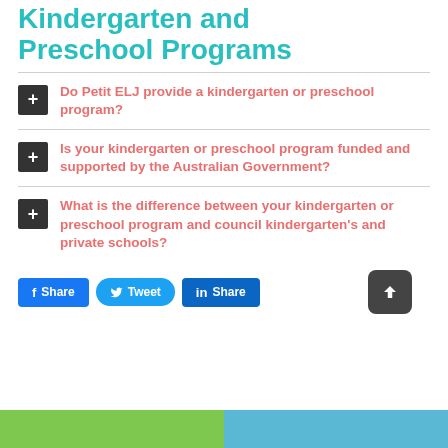Kindergarten and Preschool Programs
Do Petit ELJ provide a kindergarten or preschool program?
Is your kindergarten or preschool program funded and supported by the Australian Government?
What is the difference between your kindergarten or preschool program and council kindergarten's and private schools?
Share  Tweet  Share